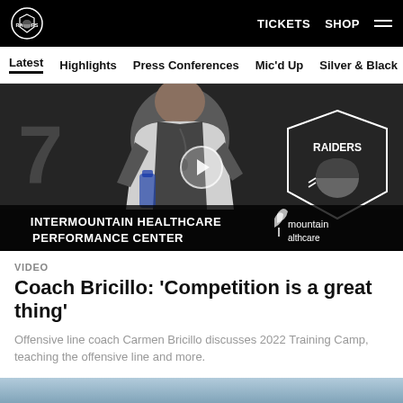Raiders | TICKETS SHOP
Latest  Highlights  Press Conferences  Mic'd Up  Silver & Black
[Figure (photo): Coach Carmen Bricillo standing at podium with Raiders logo and Intermountain Healthcare Performance Center banner in background. Play button overlay indicating video content.]
VIDEO
Coach Bricillo: 'Competition is a great thing'
Offensive line coach Carmen Bricillo discusses 2022 Training Camp, teaching the offensive line and more.